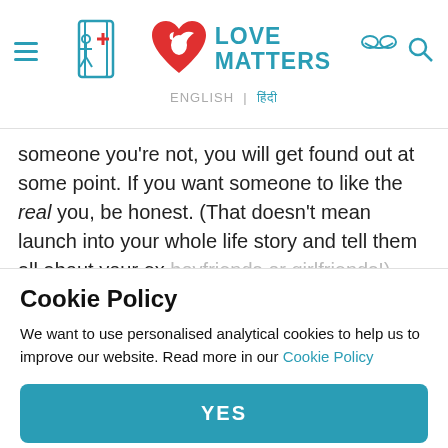Love Matters — ENGLISH | हिंदी
someone you're not, you will get found out at some point. If you want someone to like the real you, be honest. (That doesn't mean launch into your whole life story and tell them all about your ex boyfriends or girlfriends!)
Exchanging numbers If the conversation goes well and you feel a connection, suggest swapping mobile numbers. Then if you're going out at the weekend, call to ask if they'd like to
Cookie Policy
We want to use personalised analytical cookies to help us to improve our website. Read more in our Cookie Policy
YES
[Figure (photo): Partial photo visible behind cookie overlay at the bottom of the page]